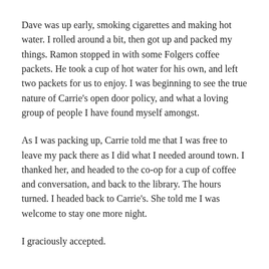Dave was up early, smoking cigarettes and making hot water. I rolled around a bit, then got up and packed my things. Ramon stopped in with some Folgers coffee packets. He took a cup of hot water for his own, and left two packets for us to enjoy. I was beginning to see the true nature of Carrie's open door policy, and what a loving group of people I have found myself amongst.
As I was packing up, Carrie told me that I was free to leave my pack there as I did what I needed around town. I thanked her, and headed to the co-op for a cup of coffee and conversation, and back to the library. The hours turned. I headed back to Carrie's. She told me I was welcome to stay one more night.
I graciously accepted.